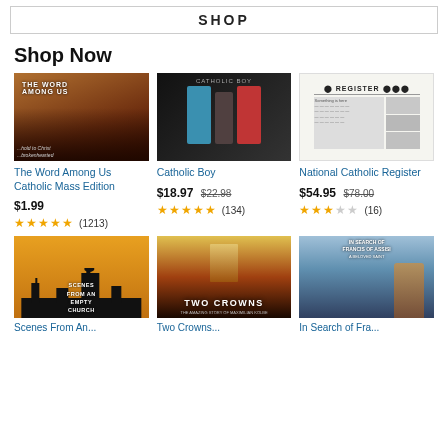SHOP
Shop Now
[Figure (photo): Book cover: The Word Among Us Catholic Mass Edition]
The Word Among Us Catholic Mass Edition
$1.99
★★★★★ (1213)
[Figure (photo): Album cover: Catholic Boy - three people in colored coats]
Catholic Boy
$18.97 $22.98
★★★★★ (134)
[Figure (photo): Newspaper front page: National Catholic Register]
National Catholic Register
$54.95 $78.00
★★★☆☆ (16)
[Figure (photo): Movie poster: Scenes From An Empty Church - orange background with silhouettes]
[Figure (photo): Movie poster: Two Crowns]
[Figure (photo): Movie poster: In Search of Francis of Assisi]